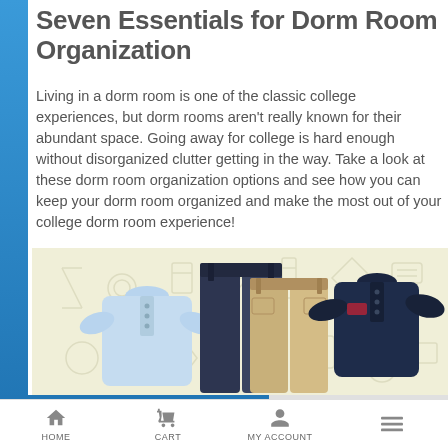Seven Essentials for Dorm Room Organization
Living in a dorm room is one of the classic college experiences, but dorm rooms aren't really known for their abundant space. Going away for college is hard enough without disorganized clutter getting in the way. Take a look at these dorm room organization options and see how you can keep your dorm room organized and make the most out of your college dorm room experience!
[Figure (photo): Product photo showing school clothing items: a light blue polo shirt on the left, navy and khaki pants in the center, and a navy polo shirt on the right, on a cream background with illustrated school supply icons.]
HOME   CART   MY ACCOUNT